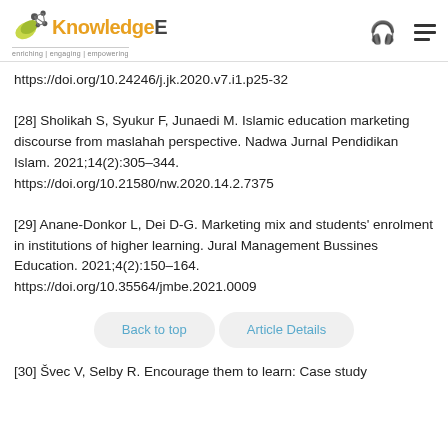Knowledge E — enriching | engaging | empowering
https://doi.org/10.24246/j.jk.2020.v7.i1.p25-32
[28] Sholikah S, Syukur F, Junaedi M. Islamic education marketing discourse from maslahah perspective. Nadwa Jurnal Pendidikan Islam. 2021;14(2):305–344. https://doi.org/10.21580/nw.2020.14.2.7375
[29] Anane-Donkor L, Dei D-G. Marketing mix and students' enrolment in institutions of higher learning. Jural Management Bussines Education. 2021;4(2):150–164. https://doi.org/10.35564/jmbe.2021.0009
Back to top   Article Details
[30] Švec V, Selby R. Encourage them to learn: Case study